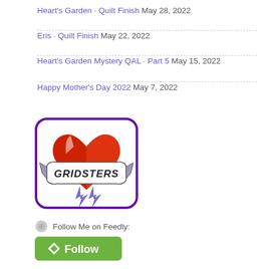Heart's Garden · Quilt Finish May 28, 2022
Eris · Quilt Finish May 22, 2022
Heart's Garden Mystery QAL · Part 5 May 15, 2022
Happy Mother's Day 2022 May 7, 2022
[Figure (logo): Gridsters logo: a red heart with a purple banner reading GRIDSTERS across it, outlined with a purple rounded rectangle border]
Follow Me on Feedly:
[Figure (logo): Green Follow button with a white diamond/feedly icon on the left]